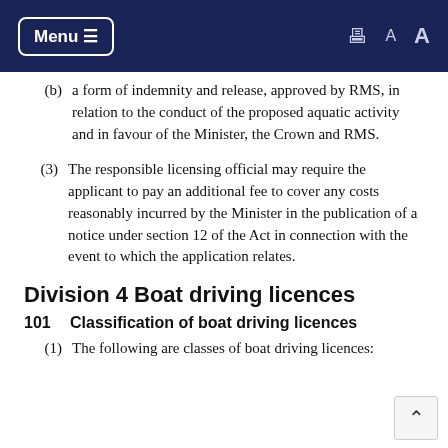Menu  [print] A A
(b)  a form of indemnity and release, approved by RMS, in relation to the conduct of the proposed aquatic activity and in favour of the Minister, the Crown and RMS.
(3)  The responsible licensing official may require the applicant to pay an additional fee to cover any costs reasonably incurred by the Minister in the publication of a notice under section 12 of the Act in connection with the event to which the application relates.
Division 4 Boat driving licences
101   Classification of boat driving licences
(1)  The following are classes of boat driving licences: